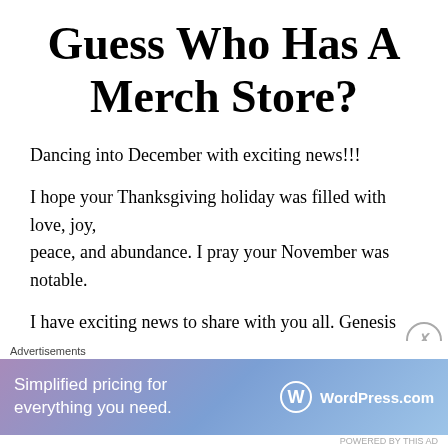Guess Who Has A Merch Store?
Dancing into December with exciting news!!!
I hope your Thanksgiving holiday was filled with love, joy, peace, and abundance. I pray your November was notable.
I have exciting news to share with you all. Genesis Transition now has a merchandise store. You can order tee shirts, long sleeve shirts, sweatshirts, hoodies, coffee mugs, and a tote bag. I am excited to present to you all GTees which is an
Advertisements
[Figure (infographic): WordPress.com advertisement banner with gradient purple-blue background. Text reads 'Simplified pricing for everything you need.' with WordPress.com logo on the right.]